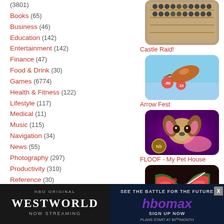(3801)
Books (65)
Business (46)
Education (142)
Entertainment (142)
Finance (47)
Food & Drink (30)
Games (6774)
Health & Fitness (122)
Lifestyle (117)
Medical (11)
Music (115)
Navigation (34)
News (55)
Photography (297)
Productivity (310)
Reference (30)
Social Networking (142)
Sports (28)
Travel (52)
Utilities (123)
Weather (37)
Parental...
By A...
[Figure (screenshot): Castle Raid! app icon - top right]
Castle Raid!
[Figure (screenshot): Arrow Fest app icon]
Arrow Fest
[Figure (screenshot): FLOOF - My Pet House app icon]
FLOOF - My Pet House
[Figure (screenshot): Fruit Ninja app icon]
Fruit Ninja®
[Figure (screenshot): Another app icon partially visible at bottom]
[Figure (screenshot): Advertisement banner - Westworld HBO left side]
[Figure (screenshot): Advertisement banner - HBO Max right side]